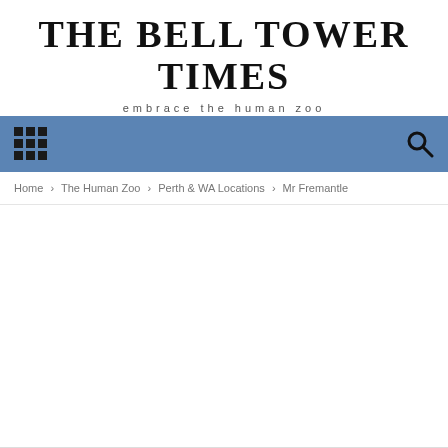THE BELL TOWER TIMES
embrace the human zoo
Navigation bar with grid menu icon and search icon
Home › The Human Zoo › Perth & WA Locations › Mr Fremantle